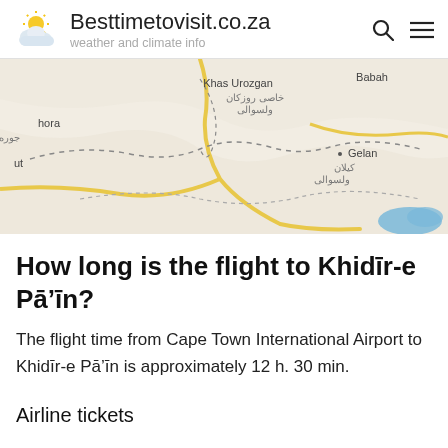Besttimetovisit.co.za — weather and climate info
[Figure (map): Google Maps view showing region around Khidīr-e Pā'īn in Afghanistan, with place names including Khas Urozgan, Babah, hora, Gelan, and Arabic/Pashto script labels. Yellow roads and dashed boundary lines visible on beige terrain background with a blue water body in lower right.]
How long is the flight to Khidīr-e Pā'īn?
The flight time from Cape Town International Airport to Khidīr-e Pā'īn is approximately 12 h. 30 min.
Airline tickets